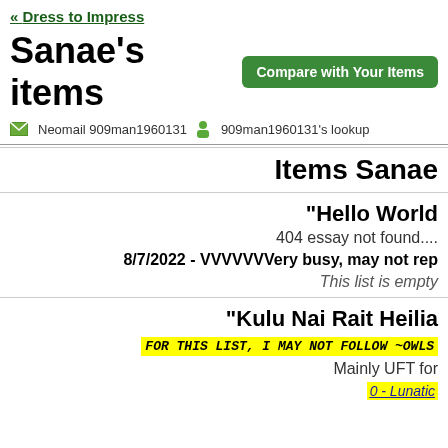« Dress to Impress
Sanae's items
Neomail 909man1960131  909man1960131's lookup
Items Sanae
"Hello World
404 essay not found....
8/7/2022 - VVVVVVVery busy, may not rep
This list is empty
"Kulu Nai Rait Heilia
FOR THIS LIST, I MAY NOT FOLLOW ~OWLS
Mainly UFT for
0 - Lunatic